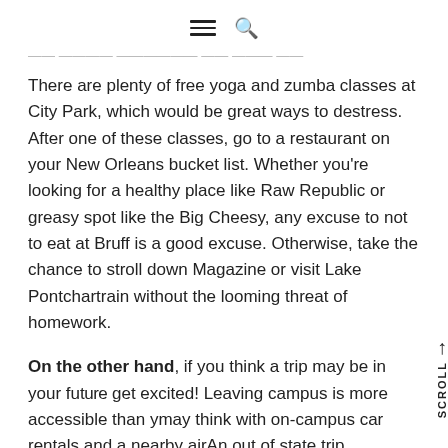☰ 🔍
…some great healthy activities in NOLA…
There are plenty of free yoga and zumba classes at City Park, which would be great ways to destress. After one of these classes, go to a restaurant on your New Orleans bucket list. Whether you're looking for a healthy place like Raw Republic or greasy spot like the Big Cheesy, any excuse to not to eat at Bruff is a good excuse. Otherwise, take the chance to stroll down Magazine or visit Lake Pontchartrain without the looming threat of homework.
On the other hand, if you think a trip may be in your future get excited! Leaving campus is more accessible than you may think with on-campus car rentals and a nearby air… An out of state trip actually needs to be planned now,